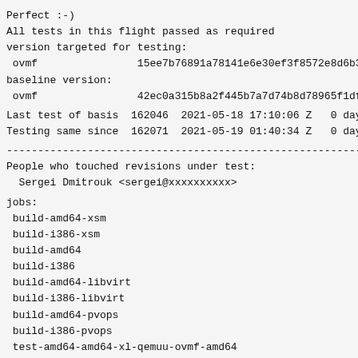Perfect :-)
All tests in this flight passed as required
version targeted for testing:
 ovmf                15ee7b76891a78141e6e30ef3f8572e8d6b326d2
baseline version:
 ovmf                42ec0a315b8a2f445b7a7d74b8d78965f1dff8f6
Last test of basis  162046  2021-05-18 17:10:06 Z   0 days
Testing same since  162071  2021-05-19 01:40:34 Z   0 days
------------------------------------------------------------------------
People who touched revisions under test:
  Sergei Dmitrouk <sergei@xxxxxxxxxx>
jobs:
build-amd64-xsm
build-i386-xsm
build-amd64
build-i386
build-amd64-libvirt
build-i386-libvirt
build-amd64-pvops
build-i386-pvops
test-amd64-amd64-xl-qemuu-ovmf-amd64
test-amd64-i386-xl-qemuu-ovmf-amd64